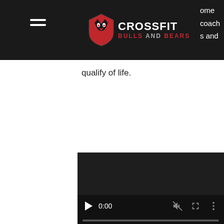CrossFit Bulls and Bears - navigation header
qualify of life.
[Figure (screenshot): Embedded video player with dark background showing controls: play button, time 0:00, mute icon, fullscreen icon, more options icon, and a progress bar at the bottom.]